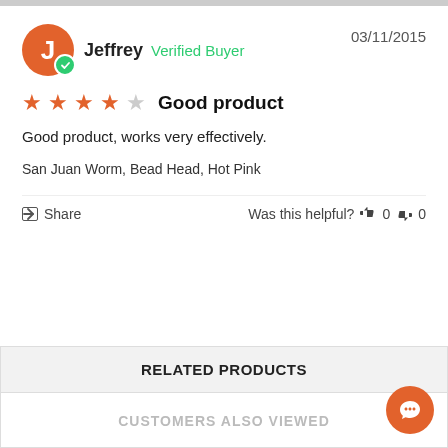Jeffrey  Verified Buyer  03/11/2015
★★★★☆  Good product
Good product, works very effectively.
San Juan Worm, Bead Head, Hot Pink
Share  Was this helpful?  👍 0  👎 0
RELATED PRODUCTS
CUSTOMERS ALSO VIEWED